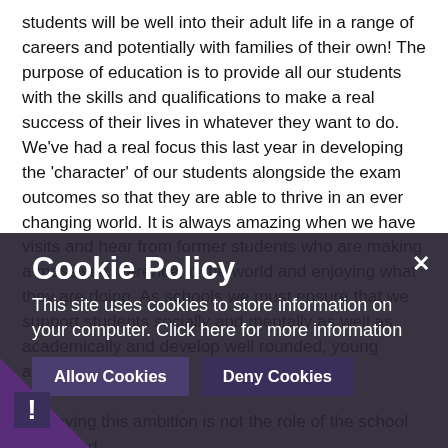students will be well into their adult life in a range of careers and potentially with families of their own! The purpose of education is to provide all our students with the skills and qualifications to make a real success of their lives in whatever they want to do. We've had a real focus this last year in developing the 'character' of our students alongside the exam outcomes so that they are able to thrive in an ever changing world. It is always amazing when we have visits and hear from former students who are making a massive difference to the world and enjoying what they are doing. As schools we must ensure that we support students socially and mentally as well as academically and develop well rounded, young adults.

Achieving this ambition is not the role of the school alone and of course comes from excellent relationships with parents...
Cookie Policy
This site uses cookies to store information on your computer. Click here for more information
[Allow Cookies] [Deny Cookies]